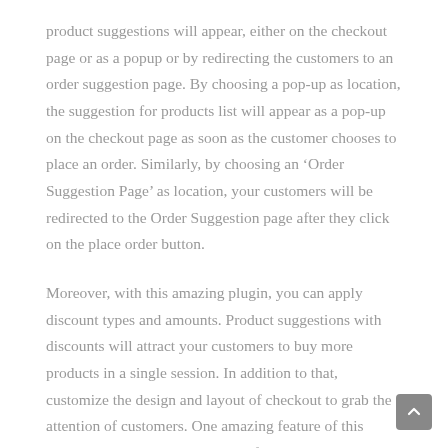product suggestions will appear, either on the checkout page or as a popup or by redirecting the customers to an order suggestion page. By choosing a pop-up as location, the suggestion for products list will appear as a pop-up on the checkout page as soon as the customer chooses to place an order. Similarly, by choosing an 'Order Suggestion Page' as location, your customers will be redirected to the Order Suggestion page after they click on the place order button.
Moreover, with this amazing plugin, you can apply discount types and amounts. Product suggestions with discounts will attract your customers to buy more products in a single session. In addition to that, customize the design and layout of checkout to grab the attention of customers. One amazing feature of this plugin is the ‘Countdown Timer’ feature. By setting a countdown timer, and a message like a 10% cashback offer for the next 30 seconds only, buyers